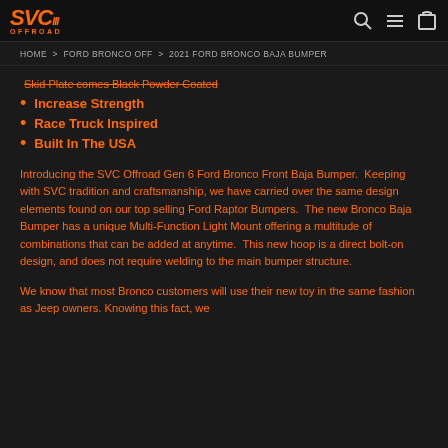SVC OFFROAD — logo and navigation icons
HOME > FORD BRONCO OFF > 2021 FORD BRONCO BAJA BUMPER
Skid Plate comes Black Powder Coated (strikethrough)
Increase Strength
Race Truck Inspired
Built In The USA
Introducing the SVC Offroad Gen 6 Ford Bronco Front Baja Bumper.  Keeping with SVC tradition and craftsmanship, we have carried over the same design elements found on our top selling Ford Raptor Bumpers.  The new Bronco Baja Bumper has a unique Multi-Function Light Mount offering a multitude of combinations that can be added at anytime.  This new hoop is a direct bolt-on design, and does not require welding to the main bumper structure.
We know that most Bronco customers will use their new toy in the same fashion as Jeep owners. Knowing this fact, we